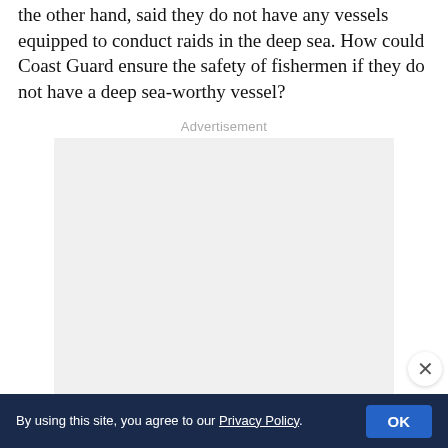the other hand, said they do not have any vessels equipped to conduct raids in the deep sea. How could Coast Guard ensure the safety of fishermen if they do not have a deep sea-worthy vessel?
Advertisement
[Figure (other): Advertisement placeholder box with light gray background]
By using this site, you agree to our Privacy Policy.